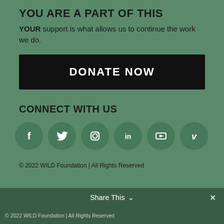YOU ARE A PART OF THIS
YOUR support is what allows us to continue the work we do.
DONATE NOW
CONNECT WITH US
[Figure (infographic): Six social media icons in dark green circles: Facebook, Twitter, Instagram, LinkedIn, YouTube, Vimeo]
© 2022 WILD Foundation | All Rights Reserved
Share This ∨   ✕
© 2022 WILD Foundation | All Rights Reserved